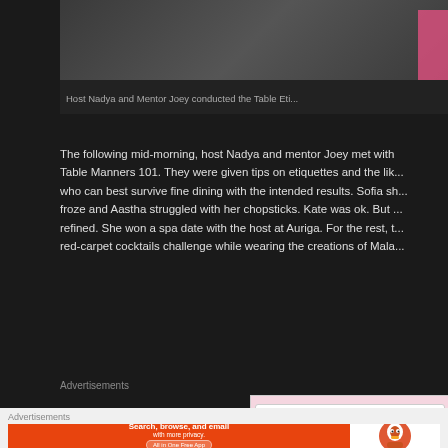[Figure (photo): Partial view of a photo showing someone in a pink outfit, cropped at top]
Host Nadya and Mentor Joey conducted the Table Eti...
The following mid-morning, host Nadya and mentor Joey met with Table Manners 101. They were given tips on etiquettes and the lik... who can best survive fine dining with the intended results. Sofia sh... froze and Aastha struggled with her chopsticks. Kate was ok. But ... refined. She won a spa date with the host at Auriga. For the rest, t... red-carpet cocktails challenge while wearing the creations of Mala...
Advertisements
[Figure (screenshot): Screenshot of a web editor toolbar showing Bold, Italic, Link buttons with 'Bold ⌘B' tooltip, and a partially visible ad saying 'Customize everythi...']
Advertisements
[Figure (screenshot): DuckDuckGo advertisement banner: 'Search, browse, and email with more privacy. All in One Free App' with DuckDuckGo logo]